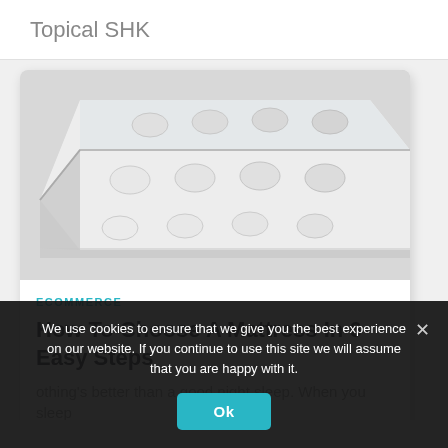Topical SHK
[Figure (photo): Close-up photograph of a white mattress with tufted cushioning surface, shown at an angle on a white background inside a rounded card.]
ECOMMERCE
How To Choose A Mattress In 6 Easy Steps
othing's better than a good night sleep. When you sleep
We use cookies to ensure that we give you the best experience on our website. If you continue to use this site we will assume that you are happy with it.
Ok